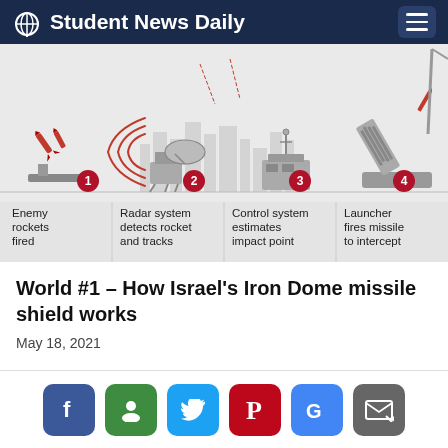Student News Daily
[Figure (infographic): Iron Dome missile defense system infographic showing 4 steps: 1) Enemy rockets fired (rocket launcher), 2) Radar system detects rocket and tracks (radar dish), 3) Control system estimates impact point (control unit), 4) Launcher fires missile to intercept (missile launcher). Each step has a numbered red circle badge and a grey illustration of the equipment. City skyline silhouette in background.]
World #1 – How Israel's Iron Dome missile shield works
May 18, 2021
Social share icons: Facebook, Google+, Twitter, Pinterest, Google, Email